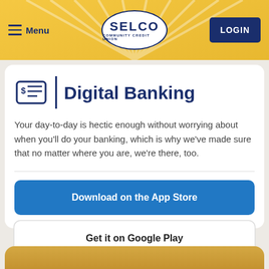Menu | SELCO COMMUNITY CREDIT UNION | LOGIN
Digital Banking
Your day-to-day is hectic enough without worrying about when you'll do your banking, which is why we've made sure that no matter where you are, we're there, too.
Download on the App Store
Get it on Google Play
[Figure (photo): Partial view of person at bottom of page, golden background strip]